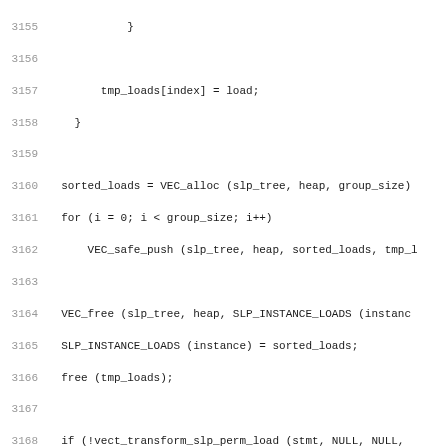Source code listing lines 3155-3186, showing C code for load permutation sorting and vect_supported_load_permutation_p function declaration.